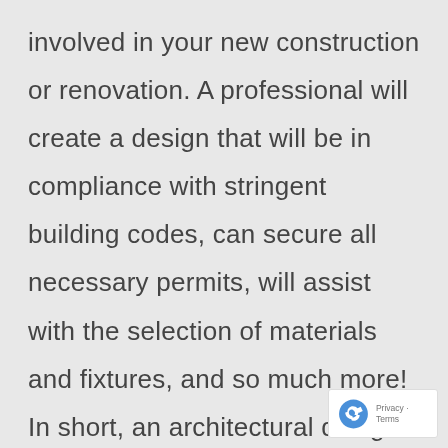involved in your new construction or renovation. A professional will create a design that will be in compliance with stringent building codes, can secure all necessary permits, will assist with the selection of materials and fixtures, and so much more! In short, an architectural design firm will help to take care of every major and minor detail, which will allow you to sit bac
[Figure (other): reCAPTCHA badge with Privacy and Terms text]